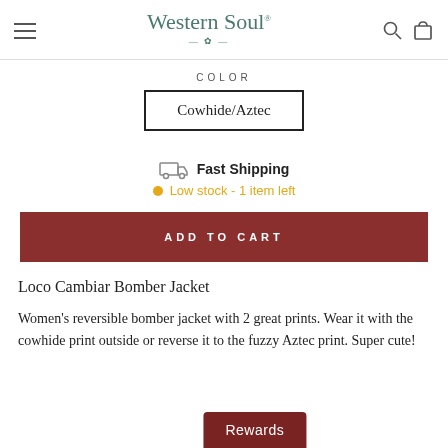Western Soul
COLOR
Cowhide/Aztec
Fast Shipping
Low stock - 1 item left
ADD TO CART
Loco Cambiar Bomber Jacket
Women's reversible bomber jacket with 2 great prints. Wear it with the cowhide print outside or reverse it to the fuzzy Aztec print. Super cute!
Rewards